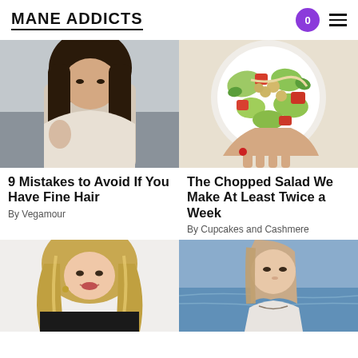MANE ADDICTS
[Figure (photo): Young Asian woman with long dark hair, tattoo on shoulder, wearing white off-shoulder top, standing outdoors near water]
[Figure (photo): Overhead shot of a chopped salad in a white bowl with chickpeas, tomatoes, avocado, and lettuce with dressing, hand holding the bowl]
9 Mistakes to Avoid If You Have Fine Hair
By Vegamour
The Chopped Salad We Make At Least Twice a Week
By Cupcakes and Cashmere
[Figure (photo): Woman with long blonde wavy highlighted hair smiling, wearing black top]
[Figure (photo): Woman with straight light brown hair standing near water/ocean, wearing white top, looking to side]